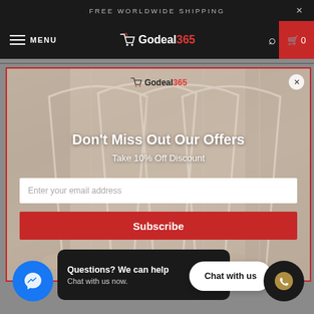FREE WORLDWIDE SHIPPING
MENU
[Figure (logo): Godeal365 shopping cart logo with red cart icon and black/red text]
[Figure (photo): Clothes hangers in a closet/wardrobe with beige and white garments]
[Figure (logo): Godeal365 logo inside popup]
Don't Miss Out Our Offers
Take 10% Off Discount
Enter your email address
Subscribe
Questions? We can help
Chat with us now.
Chat with us